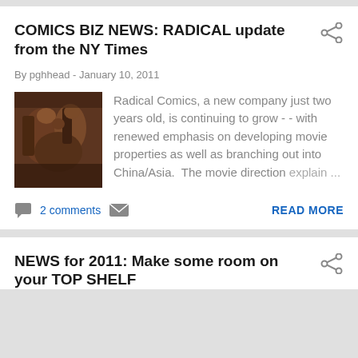COMICS BIZ NEWS: RADICAL update from the NY Times
By pghhead - January 10, 2011
[Figure (photo): Illustration/comic book art depicting warriors or battle scene]
Radical Comics, a new company just two years old, is continuing to grow - - with renewed emphasis on developing movie properties as well as branching out into China/Asia.  The movie direction explain ...
2 comments
READ MORE
NEWS for 2011: Make some room on your TOP SHELF